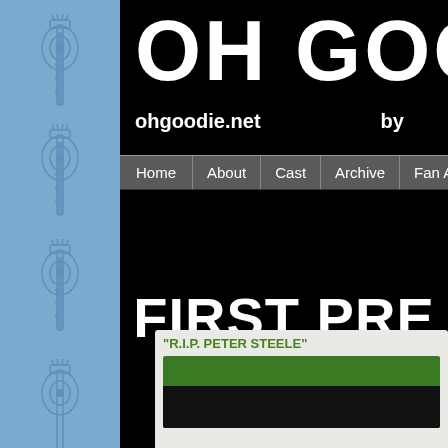[Figure (illustration): Blue sidebar with repeating electric guitar illustrations in outline style]
OH GOO
ohgoodie.net   by
[Figure (screenshot): Navigation bar with items: Home, About, Cast, Archive, Fan Art]
FIRST PRE
[Figure (illustration): Comic panel with caption "R.I.P. PETER STEELE" and a green and black comic strip image below]